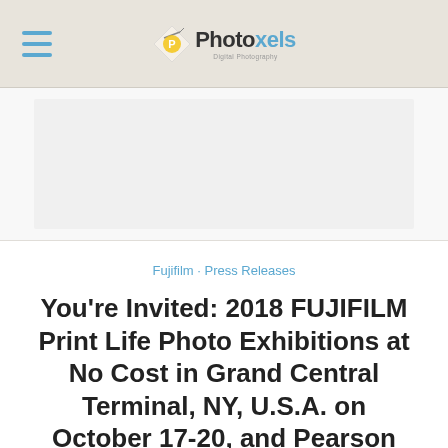Photoxels
[Figure (other): Advertisement banner area (white/light gray rectangle)]
Fujifilm · Press Releases
You're Invited: 2018 FUJIFILM Print Life Photo Exhibitions at No Cost in Grand Central Terminal, NY, U.S.A. on October 17-20, and Pearson International